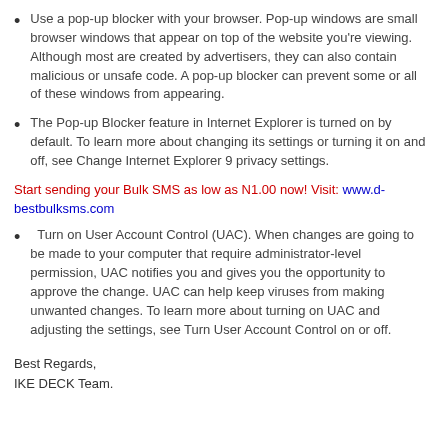Use a pop-up blocker with your browser. Pop-up windows are small browser windows that appear on top of the website you're viewing. Although most are created by advertisers, they can also contain malicious or unsafe code. A pop-up blocker can prevent some or all of these windows from appearing.
The Pop-up Blocker feature in Internet Explorer is turned on by default. To learn more about changing its settings or turning it on and off, see Change Internet Explorer 9 privacy settings.
Start sending your Bulk SMS as low as N1.00 now! Visit: www.d-bestbulksms.com
Turn on User Account Control (UAC). When changes are going to be made to your computer that require administrator-level permission, UAC notifies you and gives you the opportunity to approve the change. UAC can help keep viruses from making unwanted changes. To learn more about turning on UAC and adjusting the settings, see Turn User Account Control on or off.
Best Regards,
IKE DECK Team.